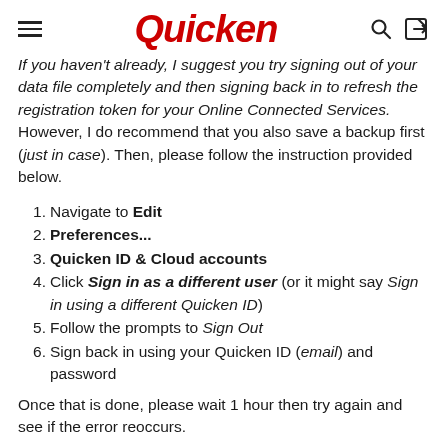Quicken
If you haven't already, I suggest you try signing out of your data file completely and then signing back in to refresh the registration token for your Online Connected Services. However, I do recommend that you also save a backup first (just in case). Then, please follow the instruction provided below.
1. Navigate to Edit
2. Preferences...
3. Quicken ID & Cloud accounts
4. Click Sign in as a different user (or it might say Sign in using a different Quicken ID)
5. Follow the prompts to Sign Out
6. Sign back in using your Quicken ID (email) and password
Once that is done, please wait 1 hour then try again and see if the error reoccurs.